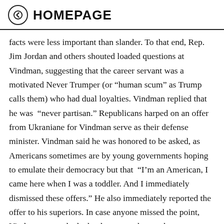HOMEPAGE
facts were less important than slander. To that end, Rep. Jim Jordan and others shouted loaded questions at Vindman, suggesting that the career servant was a motivated Never Trumper (or “human scum” as Trump calls them) who had dual loyalties. Vindman replied that he was “never partisan.” Republicans harped on an offer from Ukraniane for Vindman serve as their defense minister. Vindman said he was honored to be asked, as Americans sometimes are by young governments hoping to emulate their democracy but that “I’m an American, I came here when I was a toddler. And I immediately dismissed these offers.” He also immediately reported the offer to his superiors. In case anyone missed the point, Vindman was asked what languages he speaks, a moment meant to lead Fox News. “Ukranian, Russian and a bit of